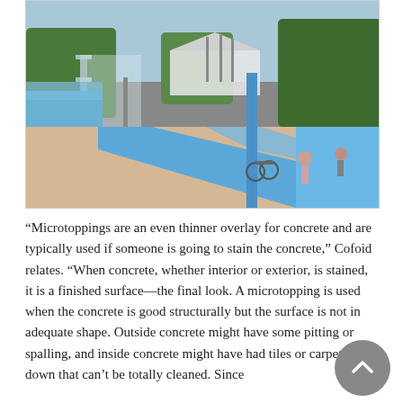[Figure (photo): Outdoor pool area with blue and tan/beige colored concrete overlay flooring in a wave pattern. Palm trees visible in background along with a pavilion structure and people. Pool on the left side. Blue poles/posts visible.]
“Microtoppings are an even thinner overlay for concrete and are typically used if someone is going to stain the concrete,” Cofoid relates. “When concrete, whether interior or exterior, is stained, it is a finished surface—the final look. A microtopping is used when the concrete is good structurally but the surface is not in adequate shape. Outside concrete might have some pitting or spalling, and inside concrete might have had tiles or carpet glued down that can’t be totally cleaned. Since